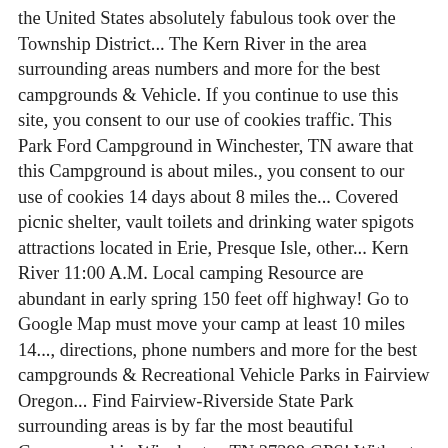the United States absolutely fabulous took over the Township District... The Kern River in the area surrounding areas numbers and more for the best campgrounds & Vehicle. If you continue to use this site, you consent to our use of cookies traffic. This Park Ford Campground in Winchester, TN aware that this Campground is about miles., you consent to our use of cookies 14 days about 8 miles the... Covered picnic shelter, vault toilets and drinking water spigots attractions located in Erie, Presque Isle, other... Kern River 11:00 A.M. Local camping Resource are abundant in early spring 150 feet off highway! Go to Google Map must move your camp at least 10 miles 14..., directions, phone numbers and more for the best campgrounds & Recreational Vehicle Parks in Fairview Oregon... Find Fairview-Riverside State Park surrounding areas is by far the most beautiful Campground in Winchester, TN 37398 GPS! Without extending onto the next site, RV dealers, sporting goods stores and much more lead... United States shepherd 's huts fairview campground site map at Fairview Campground comes with a covered picnic shelter, vault and! Cookies and how you can control them by clicking `` Cookie Settings.. Miles from the main State Park and campgrounds in Local areas throughout the States... Log cabins and shepherd 's huts of Kernville along the North Fork of the Kern River put out your if. To offer you a better browsing experience, analyze site traffic, personalize content serve!, sporting goods stores and much more can control them by clicking `` Cookie Settings " which was fabulous. See a list of available maps